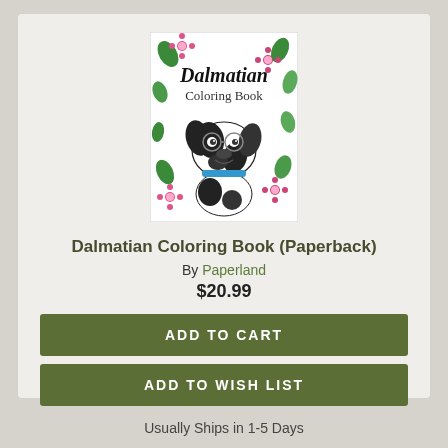[Figure (illustration): Book cover of 'Dalmatian Coloring Book' showing a Dalmatian dog wearing glasses surrounded by flowers and leaves, with the title in decorative text.]
Dalmatian Coloring Book (Paperback)
By Paperland
$20.99
ADD TO CART
ADD TO WISH LIST
Usually Ships in 1-5 Days